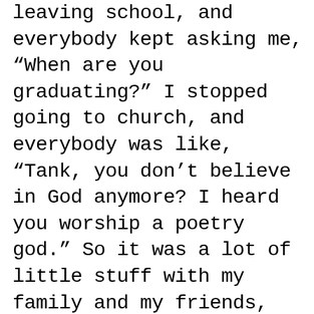leaving school, and everybody kept asking me, “When are you graduating?” I stopped going to church, and everybody was like, “Tank, you don’t believe in God anymore? I heard you worship a poetry god.” So it was a lot of little stuff with my family and my friends, and I cut off all my hair. I was just going through a lot of little things and people had a lot of little questions. I was really tired of answering them. I had to make a reminder list to myself, a true, honest one: I need to call my niece more; my little brother looks up to me;